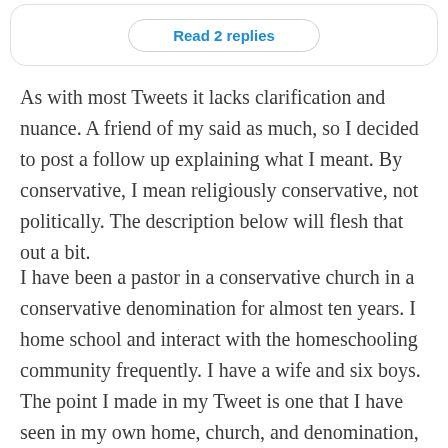Read 2 replies
As with most Tweets it lacks clarification and nuance. A friend of my said as much, so I decided to post a follow up explaining what I meant. By conservative, I mean religiously conservative, not politically. The description below will flesh that out a bit.
I have been a pastor in a conservative church in a conservative denomination for almost ten years. I home school and interact with the homeschooling community frequently. I have a wife and six boys. The point I made in my Tweet is one that I have seen in my own home, church, and denomination, as well as other conservative communities. Boys can have a